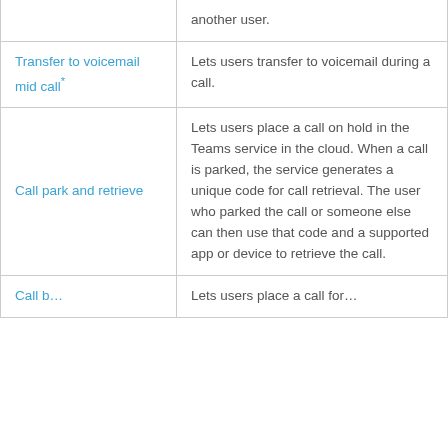| Feature | Description |
| --- | --- |
|  | another user. |
| Transfer to voicemail mid call* | Lets users transfer to voicemail during a call. |
| Call park and retrieve | Lets users place a call on hold in the Teams service in the cloud. When a call is parked, the service generates a unique code for call retrieval. The user who parked the call or someone else can then use that code and a supported app or device to retrieve the call. |
| Call b… | Lets users place a call for… |